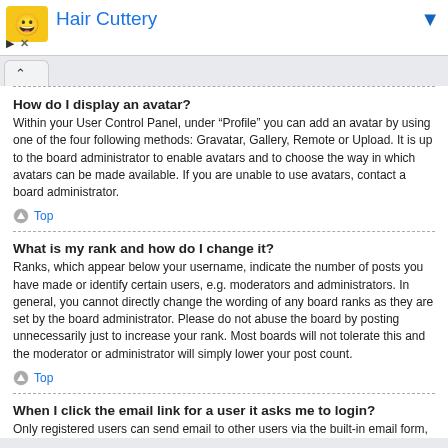[Figure (other): Advertisement banner for Hair Cuttery with logo, title in blue, and navigation controls]
How do I display an avatar?
Within your User Control Panel, under “Profile” you can add an avatar by using one of the four following methods: Gravatar, Gallery, Remote or Upload. It is up to the board administrator to enable avatars and to choose the way in which avatars can be made available. If you are unable to use avatars, contact a board administrator.
Top
What is my rank and how do I change it?
Ranks, which appear below your username, indicate the number of posts you have made or identify certain users, e.g. moderators and administrators. In general, you cannot directly change the wording of any board ranks as they are set by the board administrator. Please do not abuse the board by posting unnecessarily just to increase your rank. Most boards will not tolerate this and the moderator or administrator will simply lower your post count.
Top
When I click the email link for a user it asks me to login?
Only registered users can send email to other users via the built-in email form,